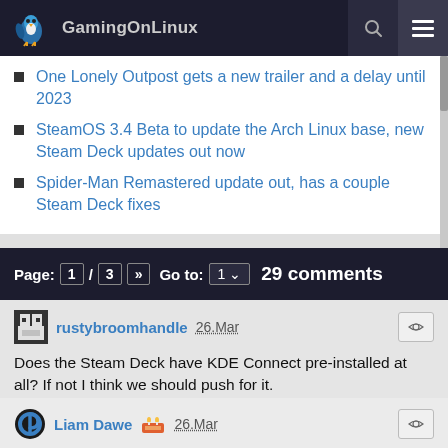GamingOnLinux
One Lonely Outpost gets a new trailer and a delay until 2023
SteamOS 3.4 Beta to update the Arch Linux base, new Steam Deck updates out now
Spider-Man Remastered update out, has a couple Steam Deck fixes
Page: 1 / 3 » Go to: 1 ∨ 29 comments
rustybroomhandle 26.Mar
Does the Steam Deck have KDE Connect pre-installed at all? If not I think we should push for it.
2 Likes, Who?
Liam Dawe 26.Mar